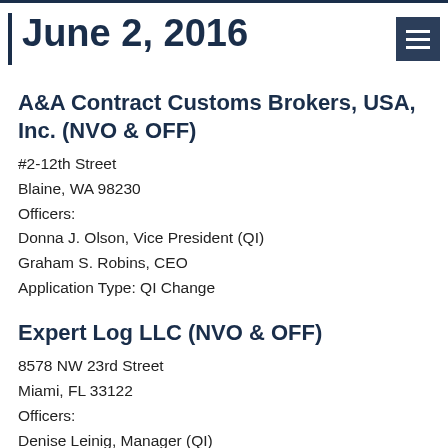June 2, 2016
A&A Contract Customs Brokers, USA, Inc. (NVO & OFF)
#2-12th Street
Blaine, WA 98230
Officers:
Donna J. Olson, Vice President (QI)
Graham S. Robins, CEO
Application Type: QI Change
Expert Log LLC (NVO & OFF)
8578 NW 23rd Street
Miami, FL 33122
Officers:
Denise Leinig, Manager (QI)